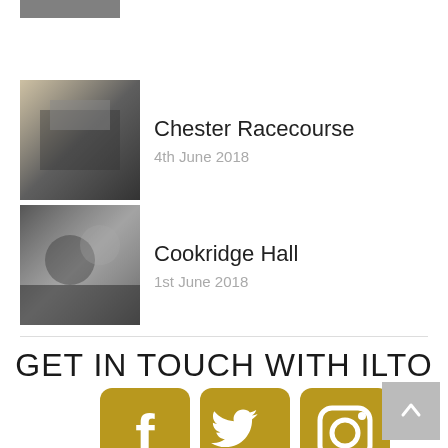[Figure (photo): Partial thumbnail of a photo at the very top of the page]
Chester Racecourse
4th June 2018
Cookridge Hall
1st June 2018
GET IN TOUCH WITH ILTO
[Figure (infographic): Three gold social media icons: Facebook, Twitter, Instagram]